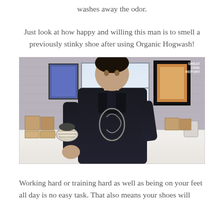washes away the odor.
Just look at how happy and willing this man is to smell a previously stinky shoe after using Organic Hogwash!
[Figure (photo): A man in a dark shirt holding up a shoe close to his face, standing in front of a window with a brick wall background. Shelves with product boxes are visible on both sides. A framed picture is on the wall. A small watermark reads 'GREAT OINK REPORT' in the top right corner.]
Working hard or training hard as well as being on your feet all day is no easy task. That also means your shoes will